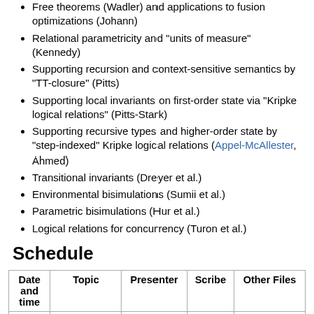Free theorems (Wadler) and applications to fusion optimizations (Johann)
Relational parametricity and "units of measure" (Kennedy)
Supporting recursion and context-sensitive semantics by "TT-closure" (Pitts)
Supporting local invariants on first-order state via "Kripke logical relations" (Pitts-Stark)
Supporting recursive types and higher-order state by "step-indexed" Kripke logical relations (Appel-McAllester, Ahmed)
Transitional invariants (Dreyer et al.)
Environmental bisimulations (Sumii et al.)
Parametric bisimulations (Hur et al.)
Logical relations for concurrency (Turon et al.)
Schedule
| Date and time | Topic | Presenter | Scribe | Other Files |
| --- | --- | --- | --- | --- |
| Tue, 2012-10-16 | Introduction | Derek | 📎 Dave |  |